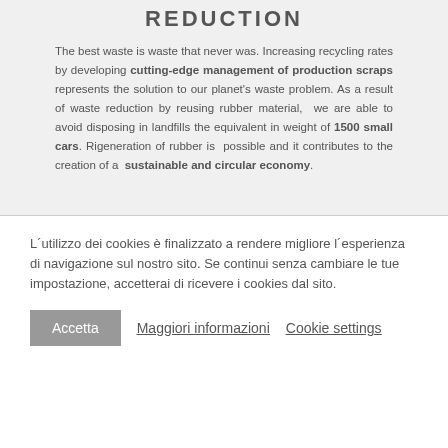REDUCTION
The best waste is waste that never was. Increasing recycling rates by developing cutting-edge management of production scraps represents the solution to our planet's waste problem. As a result of waste reduction by reusing rubber material, we are able to avoid disposing in landfills the equivalent in weight of 1500 small cars. Rigeneration of rubber is possible and it contributes to the creation of a sustainable and circular economy.
L´utilizzo dei cookies è finalizzato a rendere migliore l´esperienza di navigazione sul nostro sito. Se continui senza cambiare le tue impostazione, accetterai di ricevere i cookies dal sito.
Accetta   Maggiori informazioni   Cookie settings